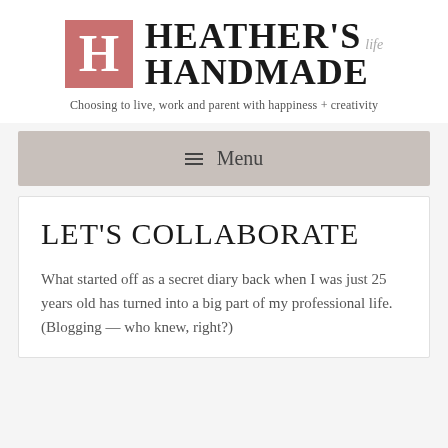[Figure (logo): Heather's Handmade Life blog logo: a salmon/rose-colored square with a white serif H, beside bold black text reading HEATHER'S HANDMADE with italic gray 'life' text to the right]
Choosing to live, work and parent with happiness + creativity
≡ Menu
LET'S COLLABORATE
What started off as a secret diary back when I was just 25 years old has turned into a big part of my professional life. (Blogging — who knew, right?)